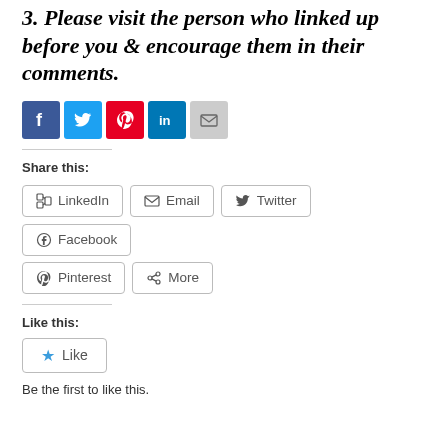3. Please visit the person who linked up before you & encourage them in their comments.
[Figure (infographic): Row of social media share icons: Facebook (blue), Twitter (light blue), Pinterest (red), LinkedIn (dark blue), Email (gray)]
Share this:
[Figure (infographic): Share buttons row 1: LinkedIn, Email, Twitter, Facebook; row 2: Pinterest, More]
Like this:
[Figure (infographic): Like button with blue star icon]
Be the first to like this.